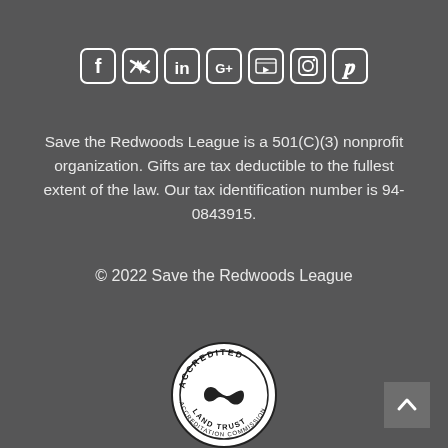[Figure (other): Social media icons row: Facebook, Twitter, LinkedIn, Google+, YouTube, Instagram, Pinterest — white rounded square icons on dark background]
Save the Redwoods League is a 501(C)(3) nonprofit organization. Gifts are tax deductible to the fullest extent of the law. Our tax identification number is 94-0843915.
© 2022 Save the Redwoods League
[Figure (logo): Accredited Land Trust Accreditation Commission circular seal with infinity logo in center]
[Figure (other): Back to top button, gray square with white chevron arrow pointing up]